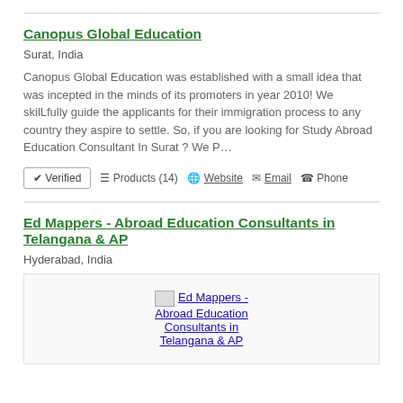Canopus Global Education
Surat, India
Canopus Global Education was established with a small idea that was incepted in the minds of its promoters in year 2010! We skilLfully guide the applicants for their immigration process to any country they aspire to settle. So, if you are looking for Study Abroad Education Consultant In Surat ? We P…
✔ Verified  ☰ Products (14)  🌐 Website  ✉ Email  ☎ Phone
Ed Mappers - Abroad Education Consultants in Telangana & AP
Hyderabad, India
[Figure (photo): Ed Mappers - Abroad Education Consultants in Telangana & AP company image placeholder with broken image icon and linked text]